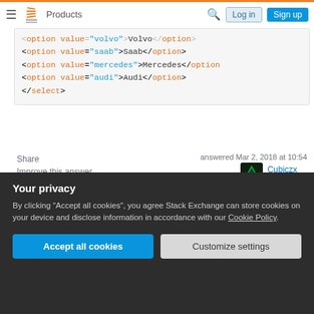≡  [Stack Overflow logo]  Products  🔍  Log in  Sign up
[Figure (screenshot): Code block showing HTML option tags with values saab, mercedes, audi and closing select tag]
Share   answered Mar 2, 2018 at 10:54
Improve this answer   Cubiczx  905 ●9 ●7
Follow
Add a comment
Another way would be to use toArray() in order to
Your privacy
By clicking "Accept all cookies", you agree Stack Exchange can store cookies on your device and disclose information in accordance with our Cookie Policy.
Accept all cookies   Customize settings